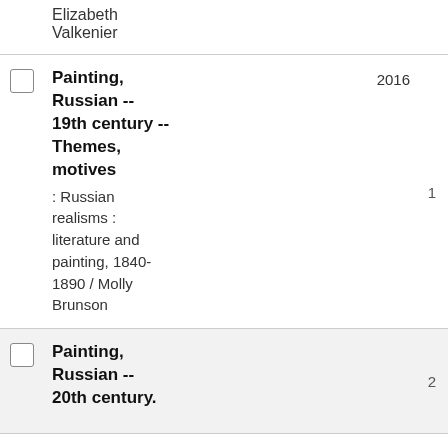Elizabeth Valkenier
Painting, Russian -- 19th century -- Themes, motives : Russian realisms : literature and painting, 1840-1890 / Molly Brunson  2016  1
Painting, Russian -- 20th century.  2